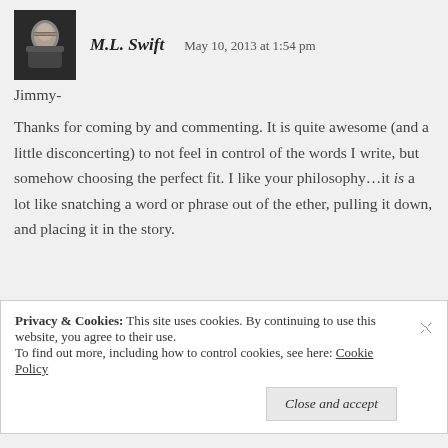[Figure (photo): Small avatar photo of M.L. Swift, a man with glasses]
M.L. Swift   May 10, 2013 at 1:54 pm
Jimmy-
Thanks for coming by and commenting. It is quite awesome (and a little disconcerting) to not feel in control of the words I write, but somehow choosing the perfect fit. I like your philosophy...it is a lot like snatching a word or phrase out of the ether, pulling it down, and placing it in the story.
Privacy & Cookies: This site uses cookies. By continuing to use this website, you agree to their use.
To find out more, including how to control cookies, see here: Cookie Policy
Close and accept